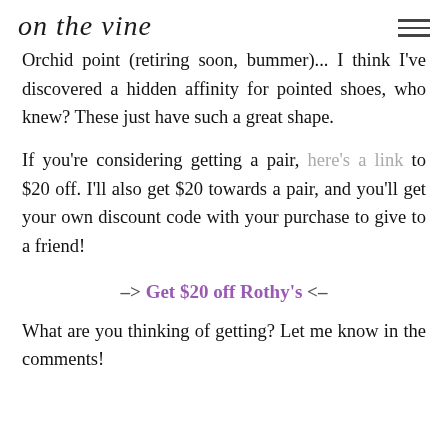on the vine
Orchid point (retiring soon, bummer)... I think I've discovered a hidden affinity for pointed shoes, who knew? These just have such a great shape.
If you're considering getting a pair, here's a link to $20 off. I'll also get $20 towards a pair, and you'll get your own discount code with your purchase to give to a friend!
–> Get $20 off Rothy's <–
What are you thinking of getting? Let me know in the comments!